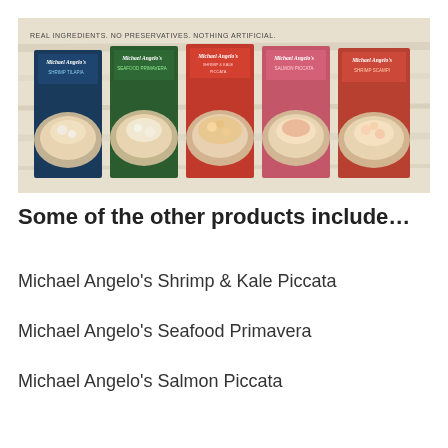[Figure (photo): Advertisement banner for Michael Angelo's frozen food products showing 5 product boxes lined up: Shrimp Tilapia, Seafood Primavera, Shrimp & Kale Piccata, Salmon Piccata, and Shrimp Scampi. Banner tagline reads: REAL INGREDIENTS. NO PRESERVATIVES. NOTHING ARTIFICIAL.]
Some of the other products include…
Michael Angelo's Shrimp & Kale Piccata
Michael Angelo's Seafood Primavera
Michael Angelo's Salmon Piccata